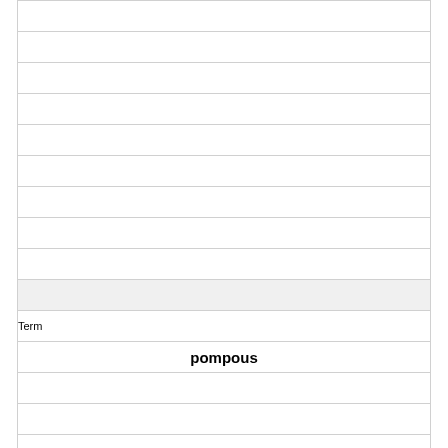|  |
|  |
|  |
|  |
|  |
|  |
|  |
|  |
|  |
| (shaded) |
| Term |
| pompous |
|  |
|  |
|  |
|  |
|  |
|  |
|  |
|  |
| Definition |